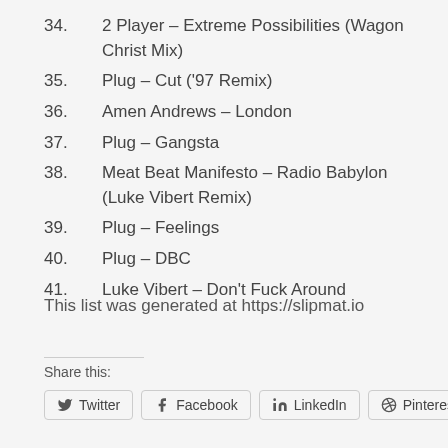34. 2 Player – Extreme Possibilities (Wagon Christ Mix)
35. Plug – Cut ('97 Remix)
36. Amen Andrews – London
37. Plug – Gangsta
38. Meat Beat Manifesto – Radio Babylon (Luke Vibert Remix)
39. Plug – Feelings
40. Plug – DBC
41. Luke Vibert – Don't Fuck Around
This list was generated at https://slipmat.io
Share this:
Twitter | Facebook | LinkedIn | Pinterest